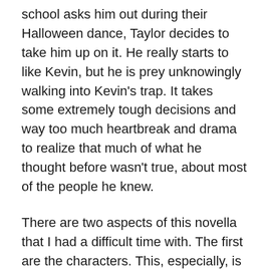school asks him out during their Halloween dance, Taylor decides to take him up on it. He really starts to like Kevin, but he is prey unknowingly walking into Kevin's trap. It takes some extremely tough decisions and way too much heartbreak and drama to realize that much of what he thought before wasn't true, about most of the people he knew.
There are two aspects of this novella that I had a difficult time with. The first are the characters. This, especially, is subjective. Part of what oftentimes makes a young adult novel good are the bad choices of the characters. More often than not young adult stories have a moral and it can walk a fine line in the hands of the author between preachy and poignant. The style of this story went a bit over the top and that just wasn't something that I was really looking for. For high school students, who I freely